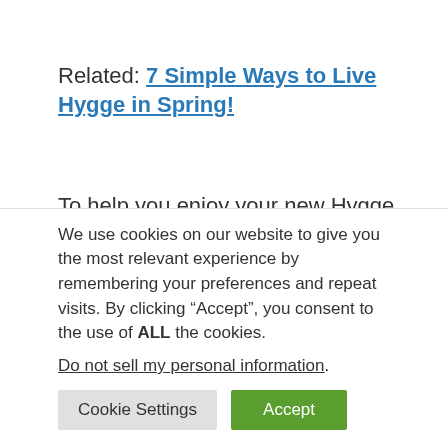Related: 7 Simple Ways to Live Hygge in Spring!
To help you enjoy your new Hygge lifestyle, and keep organized we created this sweet My Simple Hygge Life Binder that is jam packed with planners, trackers, goal lists, note cards and calendars! You can print it out or use it on your tablet too! Just click the button below 'tell me more!'
We use cookies on our website to give you the most relevant experience by remembering your preferences and repeat visits. By clicking "Accept", you consent to the use of ALL the cookies.
Do not sell my personal information.